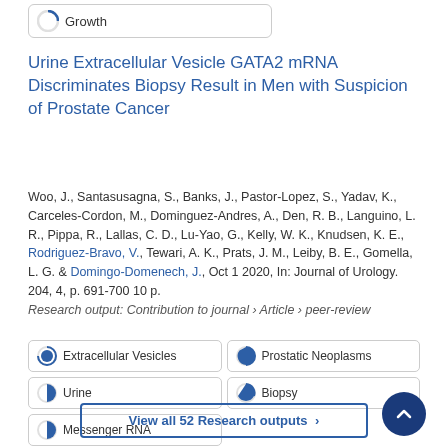[Figure (other): Circular badge icon with 'Growth' label]
Urine Extracellular Vesicle GATA2 mRNA Discriminates Biopsy Result in Men with Suspicion of Prostate Cancer
Woo, J., Santasusagna, S., Banks, J., Pastor-Lopez, S., Yadav, K., Carceles-Cordon, M., Dominguez-Andres, A., Den, R. B., Languino, L. R., Pippa, R., Lallas, C. D., Lu-Yao, G., Kelly, W. K., Knudsen, K. E., Rodriguez-Bravo, V., Tewari, A. K., Prats, J. M., Leiby, B. E., Gomella, L. G. & Domingo-Domenech, J., Oct 1 2020, In: Journal of Urology. 204, 4, p. 691-700 10 p. Research output: Contribution to journal › Article › peer-review
Extracellular Vesicles
Prostatic Neoplasms
Urine
Biopsy
Messenger RNA
View all 52 Research outputs